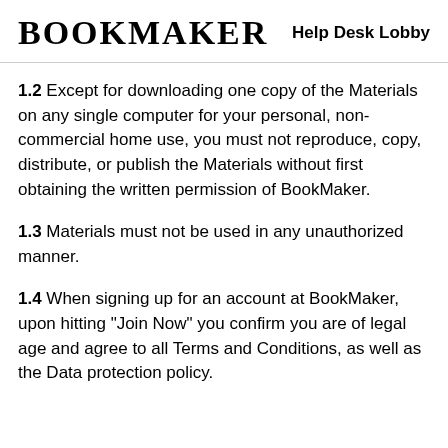BOOKMAKER  Help Desk Lobby
1.2 Except for downloading one copy of the Materials on any single computer for your personal, non-commercial home use, you must not reproduce, copy, distribute, or publish the Materials without first obtaining the written permission of BookMaker.
1.3 Materials must not be used in any unauthorized manner.
1.4 When signing up for an account at BookMaker, upon hitting "Join Now" you confirm you are of legal age and agree to all Terms and Conditions, as well as the Data protection policy.